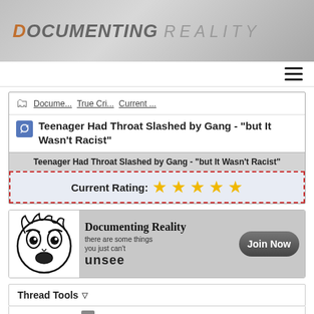DOCUMENTING REALITY
Docume... True Cri... Current ...
Teenager Had Throat Slashed by Gang - "but It Wasn't Racist"
Teenager Had Throat Slashed by Gang - "but It Wasn't Racist"
Current Rating: ★★★★★
[Figure (illustration): Documenting Reality advertisement banner with cartoon scared face, text 'Documenting Reality there are some things you just can't unsee' and a 'Join Now' button]
Thread Tools ▽
Section 1 of 2  1  2  >  ▽